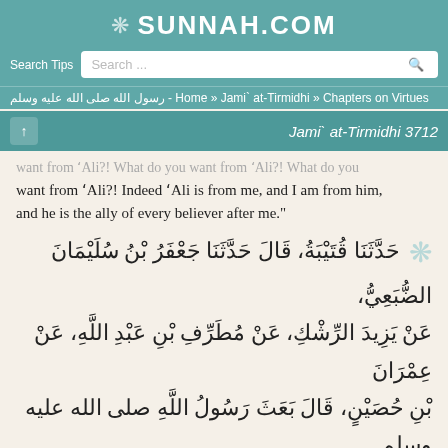SUNNAH.COM
Search Tips  Search...
Home » Jami` at-Tirmidhi » Chapters on Virtues - رسول الله صلى الله عليه وسلم
Jami` at-Tirmidhi 3712
want from 'Ali?! What do you want from 'Ali?! What do you want from 'Ali?! Indeed 'Ali is from me, and I am from him, and he is the ally of every believer after me."
حَدَّثَنَا قُتَيْبَةُ، قَالَ حَدَّثَنَا جَعْفَرُ بْنُ سُلَيْمَانَ الضُّبَعِيُّ، عَنْ يَزِيدَ الرِّشْكِ، عَنْ مُطَرِّفِ بْنِ عَبْدِ اللَّهِ، عَنْ عِمْرَانَ بْنِ حُصَيْنٍ، قَالَ بَعَثَ رَسُولُ اللَّهِ صلى الله عليه وسلم جَيْشًا وَاسْتَعْمَلَ عَلَيْهِمْ عَلِيَّ بْنَ أَبِي طَالِبٍ فَمَضَى فِي السَّرِيَّةِ فَأَصَابَ جَارِيَةً فَأَنْكَرُوا عَلَيْهِ وَتَعَاقَدَ أَرْبَعَةٌ